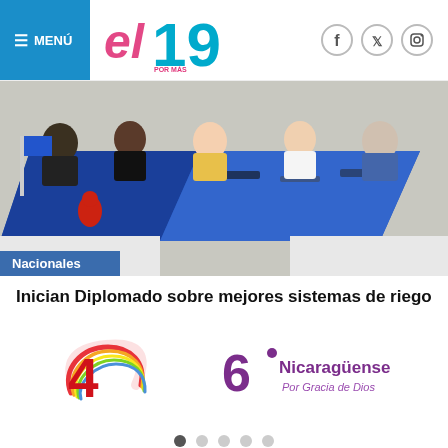≡ MENÚ | El 19 Por Más Victorias!
[Figure (photo): People seated at a blue-cloth-covered conference table signing documents, formal meeting setting]
Nacionales
Inician Diplomado sobre mejores sistemas de riego
[Figure (logo): Canal 4 TV logo with rainbow swoosh and red numeral 4]
[Figure (logo): Canal 6 Nicaragüense - Por Gracia de Dios logo with purple numeral 6]